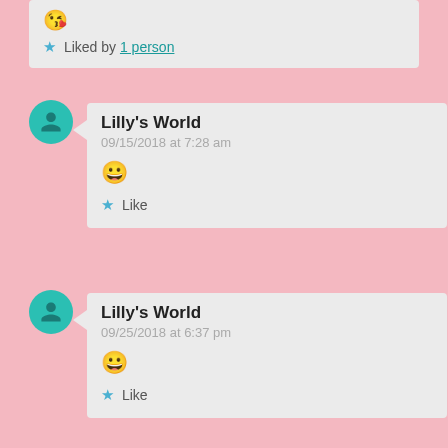😘
★ Liked by 1 person
Lilly's World
09/15/2018 at 7:28 am
😀
★ Like
Lilly's World
09/25/2018 at 6:37 pm
😀
★ Like